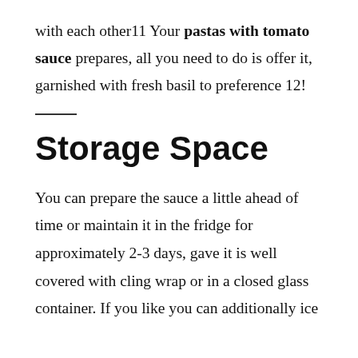with each other11 Your pastas with tomato sauce prepares, all you need to do is offer it, garnished with fresh basil to preference 12!
Storage Space
You can prepare the sauce a little ahead of time or maintain it in the fridge for approximately 2-3 days, gave it is well covered with cling wrap or in a closed glass container. If you like you can additionally ice